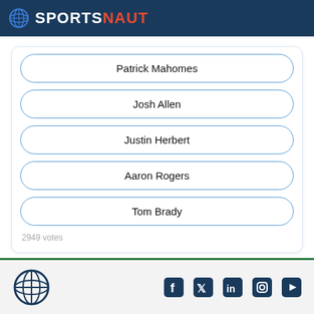SPORTSNAUT
Patrick Mahomes
Josh Allen
Justin Herbert
Aaron Rogers
Tom Brady
2949 votes
Sportsnaut footer with social icons